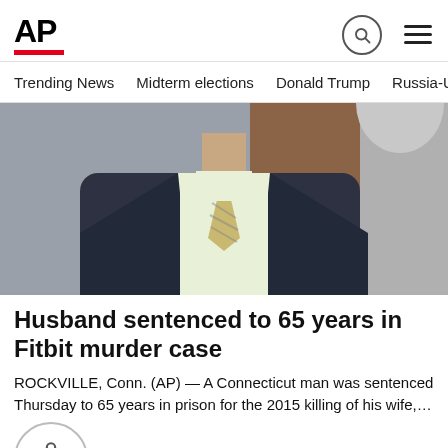AP
Trending News
Midterm elections
Donald Trump
Russia-Ukr
[Figure (photo): Man in dark suit with yellow shirt and striped tie, photographed from chest up in a courtroom setting]
Husband sentenced to 65 years in Fitbit murder case
ROCKVILLE, Conn. (AP) — A Connecticut man was sentenced Thursday to 65 years in prison for the 2015 killing of his wife,…
ys ago
[Figure (photo): Dark nighttime scene with a person visible]